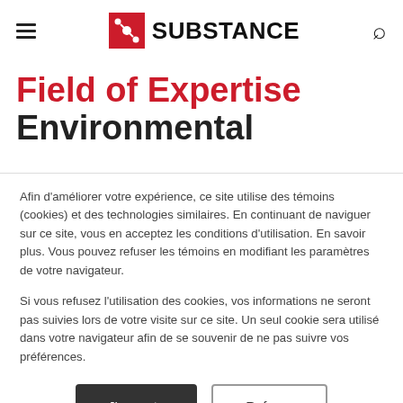SUBSTANCE
Field of Expertise
Environmental
Afin d'améliorer votre expérience, ce site utilise des témoins (cookies) et des technologies similaires. En continuant de naviguer sur ce site, vous en acceptez les conditions d'utilisation. En savoir plus. Vous pouvez refuser les témoins en modifiant les paramètres de votre navigateur.
Si vous refusez l'utilisation des cookies, vos informations ne seront pas suivies lors de votre visite sur ce site. Un seul cookie sera utilisé dans votre navigateur afin de se souvenir de ne pas suivre vos préférences.